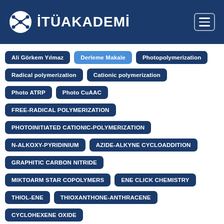[Figure (logo): İTÜ Akademi logo with navigation header on dark blue background]
Ali Görkem Yılmaz
Derleme Makale
Photopolymerization
Radical polymerization
Cationic polymerization
Photo ATRP
Photo CuAAC
FREE-RADICAL POLYMERIZATION
PHOTOINITIATED CATIONIC-POLYMERIZATION
N-ALKOXY-PYRIDINIUM
AZIDE-ALKYNE CYCLOADDITION
GRAPHITIC CARBON NITRIDE
MIKTOARM STAR COPOLYMERS
ENE CLICK CHEMISTRY
THIOL-ENE
THIOXANTHONE-ANTHRACENE
CYCLOHEXENE OXIDE